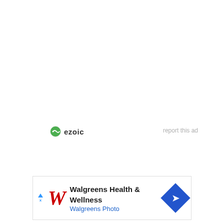[Figure (logo): Ezoic logo with green circular icon and bold text 'ezoic']
report this ad
[Figure (other): Walgreens Health & Wellness advertisement banner with red W logo, text 'Walgreens Health & Wellness' and 'Walgreens Photo', blue diamond navigation icon]